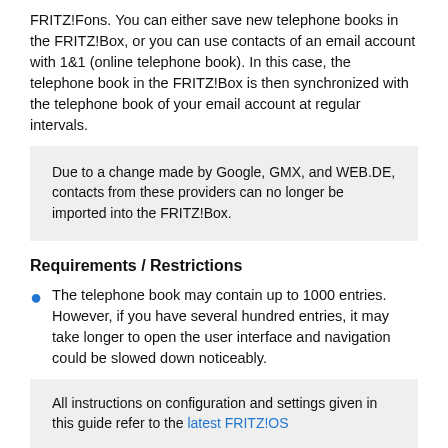FRITZ!Fons. You can either save new telephone books in the FRITZ!Box, or you can use contacts of an email account with 1&1 (online telephone book). In this case, the telephone book in the FRITZ!Box is then synchronized with the telephone book of your email account at regular intervals.
Due to a change made by Google, GMX, and WEB.DE, contacts from these providers can no longer be imported into the FRITZ!Box.
Requirements / Restrictions
The telephone book may contain up to 1000 entries. However, if you have several hundred entries, it may take longer to open the user interface and navigation could be slowed down noticeably.
All instructions on configuration and settings given in this guide refer to the latest FRITZ!OS